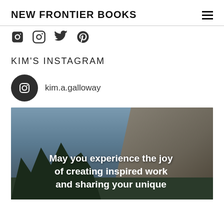NEW FRONTIER BOOKS
[Figure (other): Social media icons: Facebook, Instagram, Twitter, Pinterest]
KIM'S INSTAGRAM
kim.a.galloway
[Figure (photo): Instagram photo with mountain/rock landscape and trees, overlaid with white bold text: 'May you experience the joy of creating inspired work and sharing your unique']